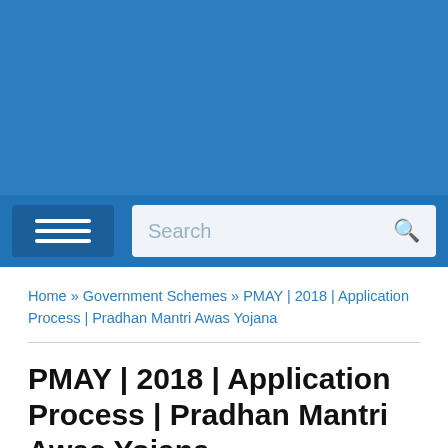[Figure (screenshot): Blue header banner area of a government website]
Search
Home » Government Schemes » PMAY | 2018 | Application Process | Pradhan Mantri Awas Yojana
PMAY | 2018 | Application Process | Pradhan Mantri Awas Yojana
By Antara Dasgupta in Government Schemes, PMAY on January 17, 2019.